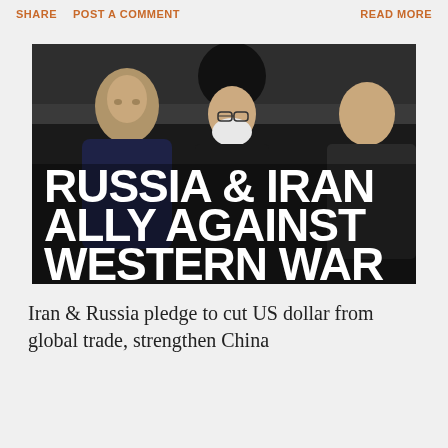SHARE   POST A COMMENT   READ MORE
[Figure (photo): Photo of three men (Putin on left, Iranian Supreme Leader Khamenei in center wearing black turban, another Iranian official on right) with bold white overlay text reading 'RUSSIA & IRAN ALLY AGAINST WESTERN WAR']
Iran & Russia pledge to cut US dollar from global trade, strengthen China